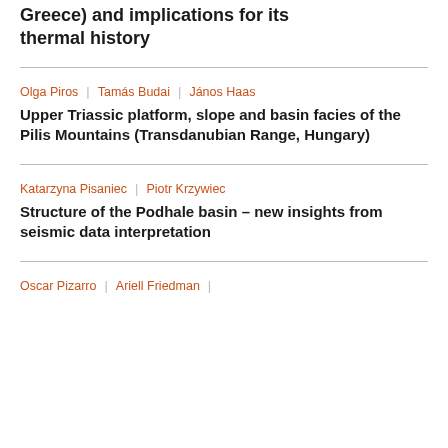Greece) and implications for its thermal history
Olga Piros | Tamás Budai | János Haas
Upper Triassic platform, slope and basin facies of the Pilis Mountains (Transdanubian Range, Hungary)
Katarzyna Pisaniec | Piotr Krzywiec
Structure of the Podhale basin – new insights from seismic data interpretation
Oscar Pizarro | Ariell Friedman |